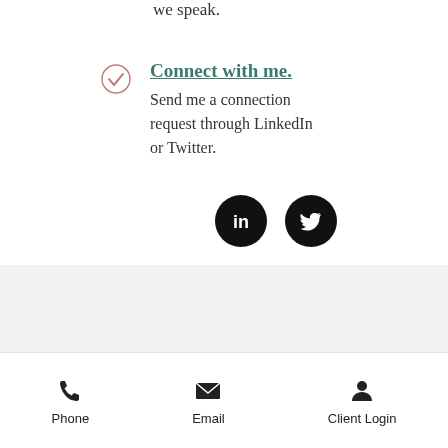we speak.
Connect with me. Send me a connection request through LinkedIn or Twitter.
[Figure (illustration): LinkedIn and Twitter social media icons as black circles with white logos]
Uncover the Mystery. Solve Problems. Deliver Results.
Phone  Email  Client Login